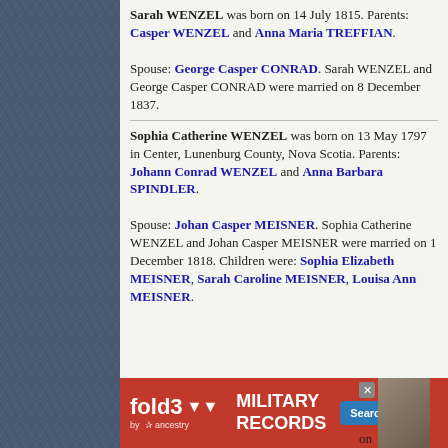Sarah WENZEL was born on 14 July 1815. Parents: Casper WENZEL and Anna Maria TREFFIAN. Spouse: George Casper CONRAD. Sarah WENZEL and George Casper CONRAD were married on 8 December 1837.
Sophia Catherine WENZEL was born on 13 May 1797 in Center, Lunenburg County, Nova Scotia. Parents: Johann Conrad WENZEL and Anna Barbara SPINDLER. Spouse: Johan Casper MEISNER. Sophia Catherine WENZEL and Johan Casper MEISNER were married on 1 December 1818. Children were: Sophia Elizabeth MEISNER, Sarah Caroline MEISNER, Louisa Ann MEISNER.
[Figure (screenshot): Advertisement banner for fold3 by Ancestry - Military Records, Search Now button]